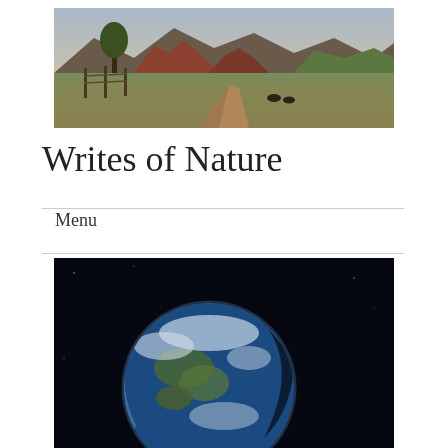[Figure (photo): Landscape photo showing a dirt path winding through a grassy field with red rock formations and mountains in the background, trees on the left, overcast sky]
Writes of Nature
Menu
[Figure (photo): Photo of Earth from space showing the planet partially lit, with dark space background — a classic 'Earthrise' style image showing blue oceans and white cloud patterns]